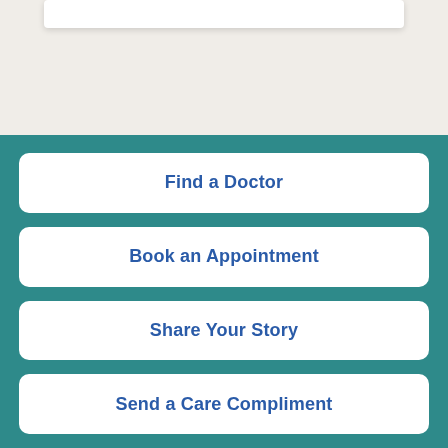Find a Doctor
Book an Appointment
Share Your Story
Send a Care Compliment
Read Vital Signs eNewsletter | Start a Fundraiser | Subscribe to our Health Publications | Search our Health Encyclopedia